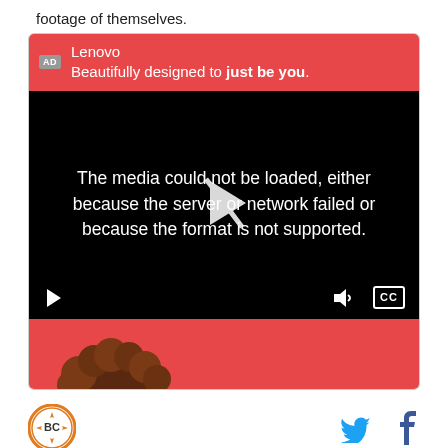footage of themselves.
[Figure (screenshot): An embedded video advertisement from Lenovo with a red header reading 'Lenovo / Beautifully designed to just be you.' The video area is black and shows an error message: 'The media could not be loaded, either because the server or network failed or because the format is not supported.' A play button overlay is visible in the center. Video controls (play, volume, CC) appear at the bottom. Below the video is a red footer with a partial image of a person with curly hair.]
[Figure (logo): Bleacher Report circular logo with BC initials and a star, orange border on white background.]
[Figure (logo): Twitter bird icon in blue.]
[Figure (logo): Facebook f icon in dark blue.]